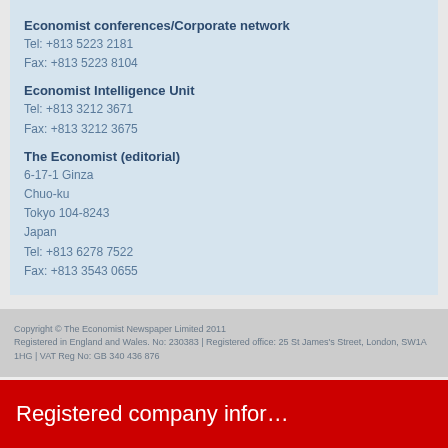Economist conferences/Corporate network
Tel: +813 5223 2181
Fax: +813 5223 8104
Economist Intelligence Unit
Tel: +813 3212 3671
Fax: +813 3212 3675
The Economist (editorial)
6-17-1 Ginza
Chuo-ku
Tokyo 104-8243
Japan
Tel: +813 6278 7522
Fax: +813 3543 0655
Copyright © The Economist Newspaper Limited 2011
Registered in England and Wales. No: 230383 | Registered office: 25 St James's Street, London, SW1A 1HG | VAT Reg No: GB 340 436 876
Registered company infor…